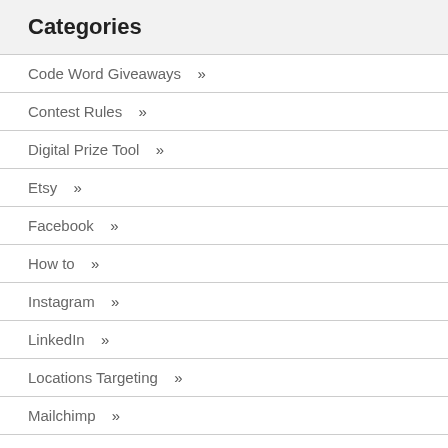Categories
Code Word Giveaways »
Contest Rules »
Digital Prize Tool »
Etsy »
Facebook »
How to »
Instagram »
LinkedIn »
Locations Targeting »
Mailchimp »
Marketing Tips »